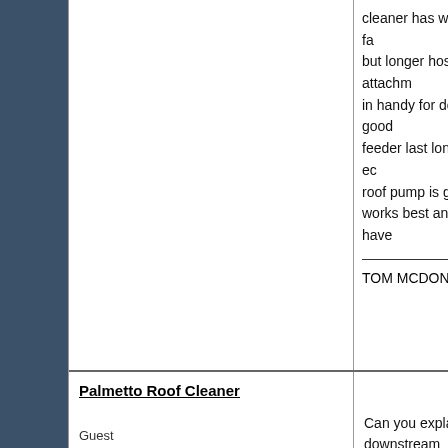cleaner has wand built in as the fa but longer hose for wand attachm in handy for down feeders a good feeder last longer one for acids ec roof pump is great for high locati works best and safe for you have
TOM MCDONALD
Palmetto Roof Cleaner
Permalink - Mor
Guest
Status: Offline
Posts: 11
Date: Sep 9, 2010
Can you explain your downstream process.
Palmetto Roof Cleaning
Roebuck, SC
188-213-5110
palmettoroofcleaning@gmail.com
Ray Frye
PTC
Permalink - Mor
Guest
their are plenty of pw sites that ca things that are things that if you d